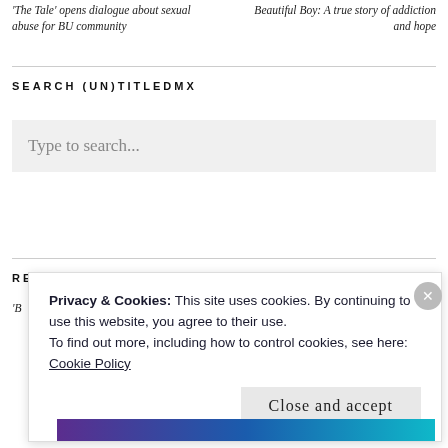'The Tale' opens dialogue about sexual abuse for BU community
Beautiful Boy: A true story of addiction and hope
SEARCH (UN)TITLEDMX
Type to search...
RECENT POSTS
'B
Privacy & Cookies: This site uses cookies. By continuing to use this website, you agree to their use.
To find out more, including how to control cookies, see here:
Cookie Policy
Close and accept